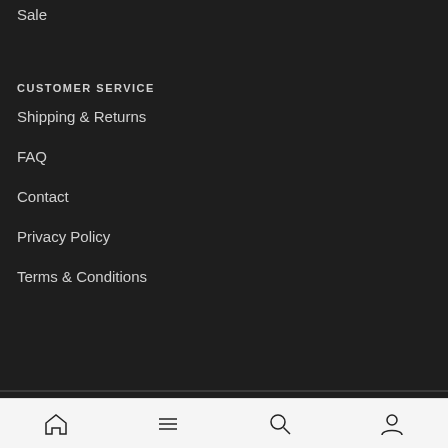Sale
CUSTOMER SERVICE
Shipping & Returns
FAQ
Contact
Privacy Policy
Terms & Conditions
© 2022 - Razzo Studio